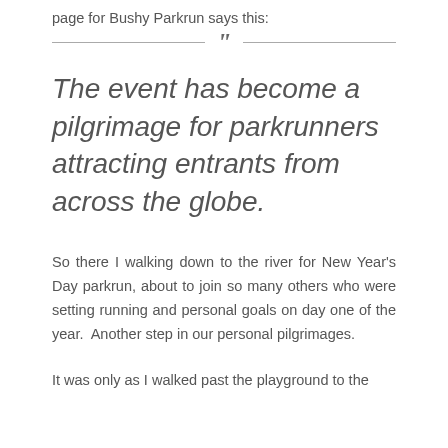page for Bushy Parkrun says this:
“The event has become a pilgrimage for parkrunners attracting entrants from across the globe.
So there I walking down to the river for New Year’s Day parkrun, about to join so many others who were setting running and personal goals on day one of the year.  Another step in our personal pilgrimages.
It was only as I walked past the playground to the